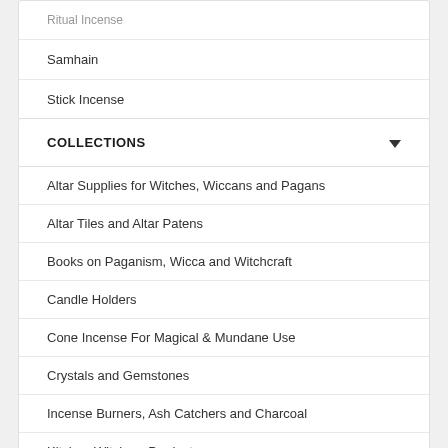Ritual Incense
Samhain
Stick Incense
COLLECTIONS
Altar Supplies for Witches, Wiccans and Pagans
Altar Tiles and Altar Patens
Books on Paganism, Wicca and Witchcraft
Candle Holders
Cone Incense For Magical & Mundane Use
Crystals and Gemstones
Incense Burners, Ash Catchers and Charcoal
Kitchen Witchery Products